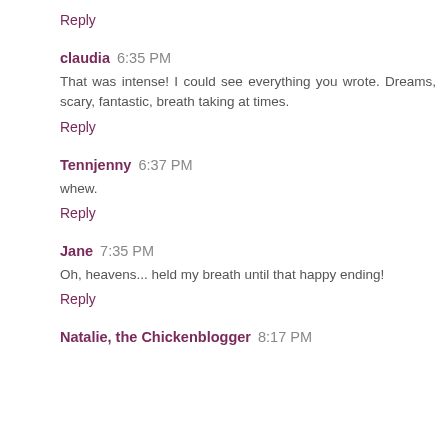Reply
claudia 6:35 PM
That was intense! I could see everything you wrote. Dreams, scary, fantastic, breath taking at times.
Reply
Tennjenny 6:37 PM
whew.
Reply
Jane 7:35 PM
Oh, heavens... held my breath until that happy ending!
Reply
Natalie, the Chickenblogger 8:17 PM